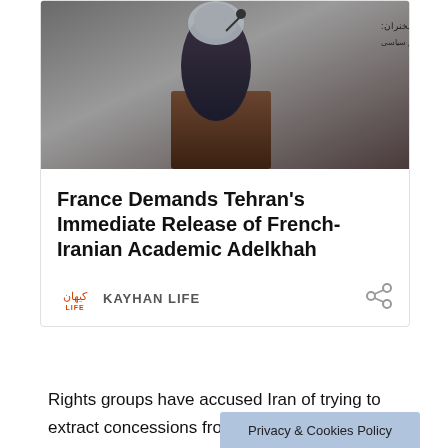[Figure (photo): A woman wearing a hijab speaking at a podium with a microphone, with Arabic text banners visible in the background]
France Demands Tehran’s Immediate Release of French-Iranian Academic Adelkhah
KAYHAN LIFE
Rights groups have accused Iran of trying to extract concessions from other countries through such arrests. Iran has repeatedly dismissed the charge.
Privacy & Cookies Policy